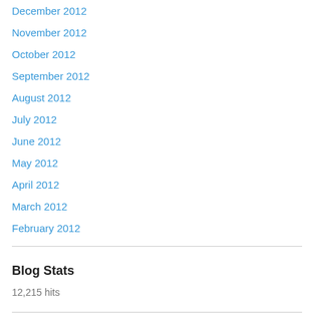December 2012
November 2012
October 2012
September 2012
August 2012
July 2012
June 2012
May 2012
April 2012
March 2012
February 2012
Blog Stats
12,215 hits
Things I Post About